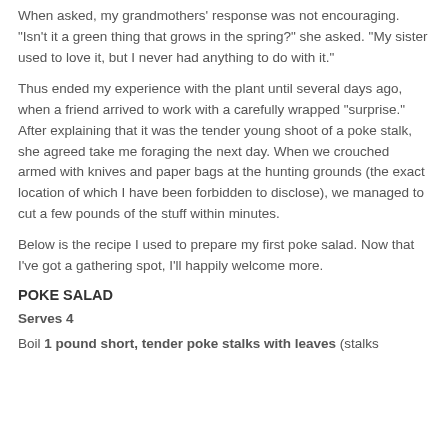When asked, my grandmothers' response was not encouraging. "Isn't it a green thing that grows in the spring?" she asked. "My sister used to love it, but I never had anything to do with it."
Thus ended my experience with the plant until several days ago, when a friend arrived to work with a carefully wrapped "surprise." After explaining that it was the tender young shoot of a poke stalk, she agreed take me foraging the next day. When we crouched armed with knives and paper bags at the hunting grounds (the exact location of which I have been forbidden to disclose), we managed to cut a few pounds of the stuff within minutes.
Below is the recipe I used to prepare my first poke salad. Now that I've got a gathering spot, I'll happily welcome more.
POKE SALAD
Serves 4
Boil 1 pound short, tender poke stalks with leaves (stalks